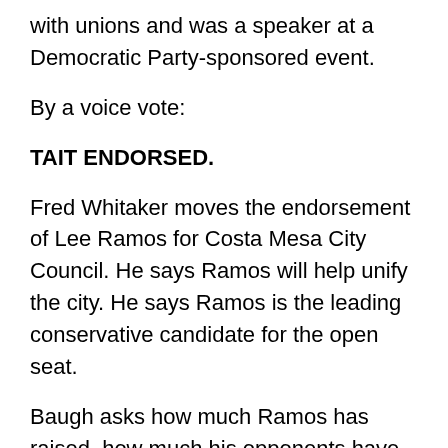with unions and was a speaker at a Democratic Party-sponsored event.
By a voice vote:
TAIT ENDORSED.
Fred Whitaker moves the endorsement of Lee Ramos for Costa Mesa City Council. He says Ramos will help unify the city. He says Ramos is the leading conservative candidate for the open seat.
Baugh asks how much Ramos has raised, how much his opponents have raised, and if he has endorsements from Righeimer, Mensinger, and Monahan.
Ramos says he's raised about $40,000 while the nearest opponent had $9,100. Ramos does have the endorsements.